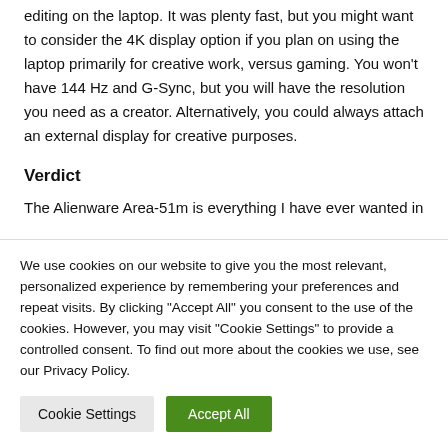editing on the laptop. It was plenty fast, but you might want to consider the 4K display option if you plan on using the laptop primarily for creative work, versus gaming. You won't have 144 Hz and G-Sync, but you will have the resolution you need as a creator. Alternatively, you could always attach an external display for creative purposes.
Verdict
The Alienware Area-51m is everything I have ever wanted in
We use cookies on our website to give you the most relevant, personalized experience by remembering your preferences and repeat visits. By clicking "Accept All" you consent to the use of the cookies. However, you may visit "Cookie Settings" to provide a controlled consent. To find out more about the cookies we use, see our Privacy Policy.